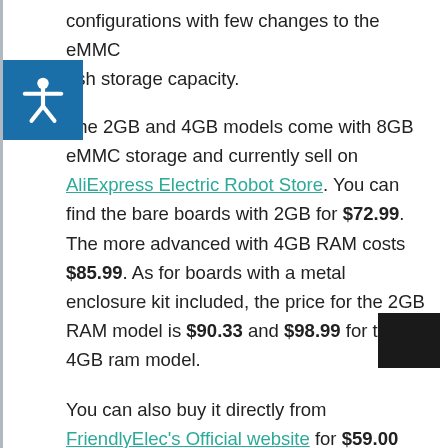configurations with few changes to the eMMC flash storage capacity.
The 2GB and 4GB models come with 8GB eMMC storage and currently sell on AliExpress Electric Robot Store. You can find the bare boards with 2GB for $72.99. The more advanced with 4GB RAM costs $85.99. As for boards with a metal enclosure kit included, the price for the 2GB RAM model is $90.33 and $98.99 for the 4GB ram model.
You can also buy it directly from FriendlyElec's Official website for $59.00 (Excluding shipping) the Bare Board with a 2GB RAM configuration. If